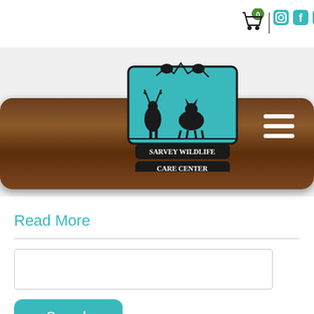came in from locations. Two
360.435.4817
[Figure (logo): Sarvey Wildlife Care Center logo with animal silhouettes on teal background]
Read More
[Figure (screenshot): Search input box]
Search
Archive
2022
2021
2020